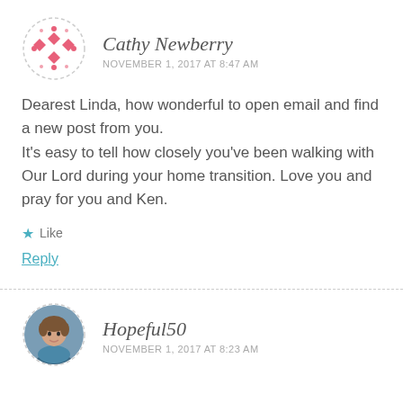[Figure (illustration): Circular avatar with decorative pink diamond/dot pattern on white background with dashed border]
Cathy Newberry
NOVEMBER 1, 2017 AT 8:47 AM
Dearest Linda, how wonderful to open email and find a new post from you.
It’s easy to tell how closely you’ve been walking with Our Lord during your home transition. Love you and pray for you and Ken.
★ Like
Reply
[Figure (photo): Circular photo avatar of a woman with short brown hair wearing a blue/teal top, dashed circular border]
Hopeful50
NOVEMBER 1, 2017 AT 8:23 AM